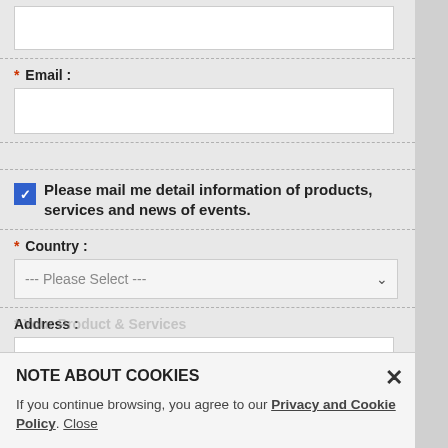[empty input field at top]
* Email :
[email input field]
Please mail me detail information of products, services and news of events.
* Country :
--- Please Select ---
Address :
[address input field]
* Telephone :
NOTE ABOUT COOKIES
If you continue browsing, you agree to our Privacy and Cookie Policy. Close